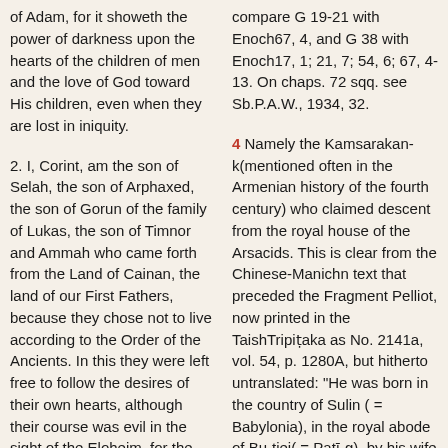of Adam, for it showeth the power of darkness upon the hearts of the children of men and the love of God toward His children, even when they are lost in iniquity.
2. I, Corint, am the son of Selah, the son of Arphaxed, the son of Gorun of the family of Lukas, the son of Timnor and Ammah who came forth from the Land of Cainan, the land of our First Fathers, because they chose not to live according to the Order of the Ancients. In this they were left free to follow the desires of their own hearts, although their course was evil in the sight of the Eloheim, for the Lord Jehovah
compare G 19-21 with Enoch67, 4, and G 38 with Enoch17, 1; 21, 7; 54, 6; 67, 4-13. On chaps. 72 sqq. see Sb.P.A.W., 1934, 32.
4 Namely the Kamsarakan-k(mentioned often in the Armenian history of the fourth century) who claimed descent from the royal house of the Arsacids. This is clear from the Chinese-Manichn text that preceded the Fragment Pelliot, now printed in the TaishTripiṭaka as No. 2141a, vol. 54, p. 1280A, but hitherto untranslated: "He was born in the country of Sulin ( = Babylonia), in the royal abode of Bu-tiei( = Patī-g), by his wife Mu-i( = Maryam) of the family of